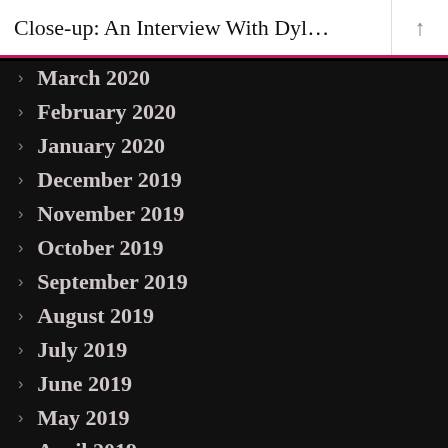Close-up: An Interview With Dyl…
March 2020
February 2020
January 2020
December 2019
November 2019
October 2019
September 2019
August 2019
July 2019
June 2019
May 2019
April 2019
March 2019
February 2019
January 2019
December 2018
November 2018